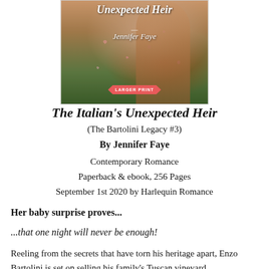[Figure (photo): Book cover of 'The Italian's Unexpected Heir' by Jennifer Faye. A woman in a dark floral dress stands outdoors. A pink banner reads 'LARGER PRINT' at the bottom of the cover.]
The Italian's Unexpected Heir
(The Bartolini Legacy #3)
By Jennifer Faye
Contemporary Romance
Paperback & ebook, 256 Pages
September 1st 2020 by Harlequin Romance
Her baby surprise proves...
...that one night will never be enough!
Reeling from the secrets that have torn his heritage apart, Enzo Bartolini is set on selling his family's Tuscan vineyard